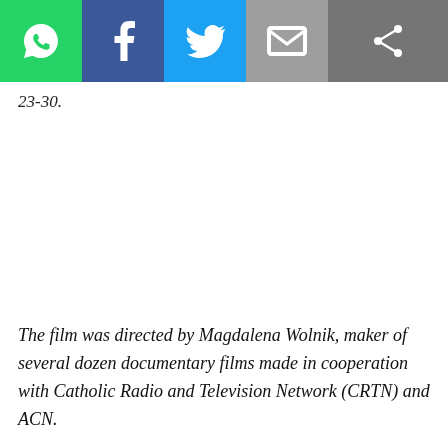[Figure (other): Social media sharing buttons bar: WhatsApp (green), Facebook (blue), Twitter (light blue), Email (grey), and a share icon (dark grey)]
23-30.
The film was directed by Magdalena Wolnik, maker of several dozen documentary films made in cooperation with Catholic Radio and Television Network (CRTN) and ACN.